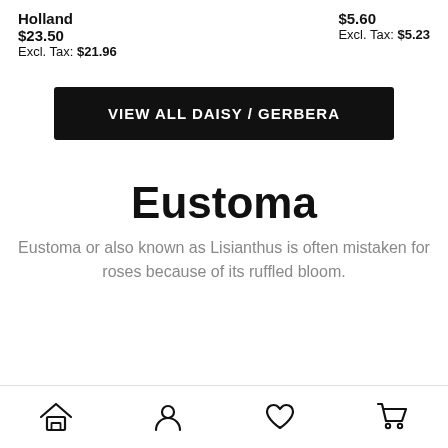Holland
$23.50
Excl. Tax: $21.96
$5.60
Excl. Tax: $5.23
VIEW ALL DAISY / GERBERA
Eustoma
Eustoma or also known as Lisianthus is often mistaken for roses because of its ruffled bloom.
[Figure (other): Bottom navigation bar with icons: home, user/account, heart/wishlist, shopping cart]